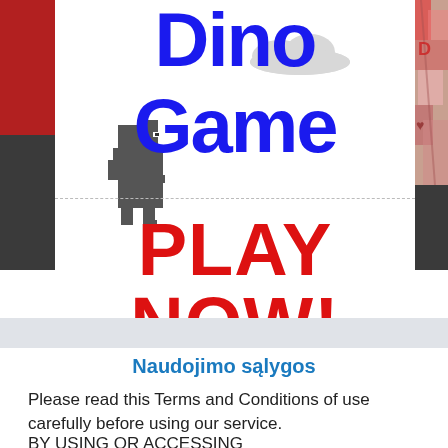[Figure (screenshot): Dino Game banner with large blue bold text 'Dino Game', pixel art T-rex dinosaur sprite on the left, small cloud icon, dark gray background sides, red block top-left, colorful graffiti strip top-right]
PLAY NOW!
Naudojimo sąlygos
Please read this Terms and Conditions of use carefully before using our service.
BY USING OR ACCESSING NEWCONVERTER.NET, OR SUBMITTING